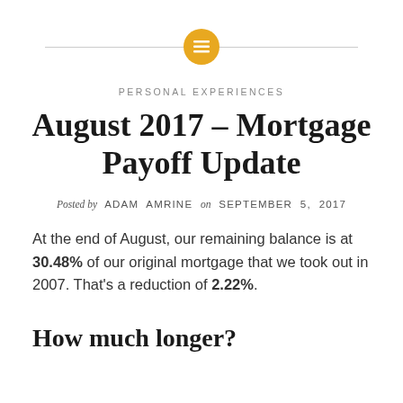PERSONAL EXPERIENCES
August 2017 – Mortgage Payoff Update
Posted by ADAM AMRINE on SEPTEMBER 5, 2017
At the end of August, our remaining balance is at 30.48% of our original mortgage that we took out in 2007. That's a reduction of 2.22%.
How much longer?